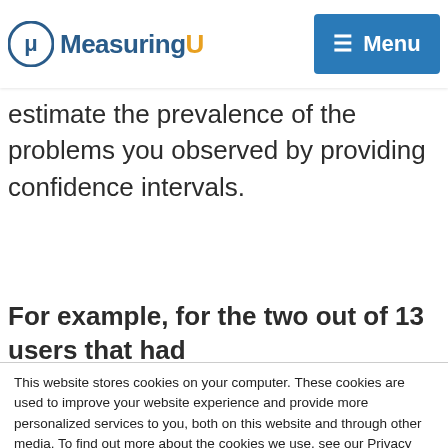MeasuringU — Menu
estimate the prevalence of the problems you observed by providing confidence intervals.
For example, for the two out of 13 users that had
This website stores cookies on your computer. These cookies are used to improve your website experience and provide more personalized services to you, both on this website and through other media. To find out more about the cookies we use, see our Privacy Policy.
We won't track your information when you visit our site. But in order to comply with your preferences, we'll have to use just one tiny cookie so that you're not asked to make this choice again.